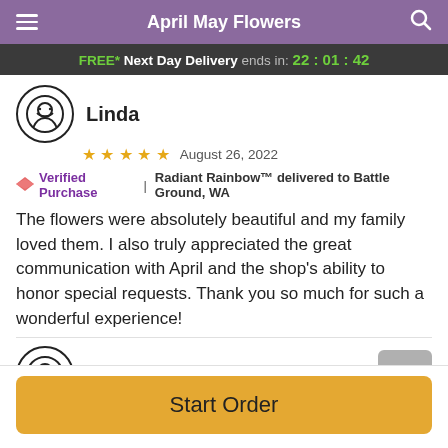April May Flowers
FREE* Next Day Delivery ends in: 22:01:42
Linda
★★★★★ August 26, 2022
Verified Purchase | Radiant Rainbow™ delivered to Battle Ground, WA
The flowers were absolutely beautiful and my family loved them. I also truly appreciated the great communication with April and the shop's ability to honor special requests. Thank you so much for such a wonderful experience!
Barbara
★★★★★ August 08, 2022
Start Order